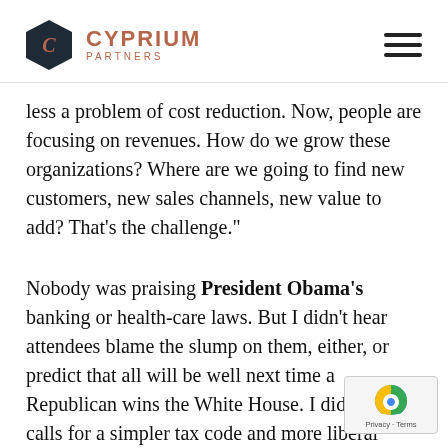CYPRIUM PARTNERS
less a problem of cost reduction. Now, people are focusing on revenues. How do we grow these organizations? Where are we going to find new customers, new sales channels, new value to add? That's the challenge."
Nobody was praising President Obama's banking or health-care laws. But I didn't hear attendees blame the slump on them, either, or predict that all will be well next time a Republican wins the White House. I did hear calls for a simpler tax code and more liberal immigration laws for skilled foreign workers, they build our economy, instead of going home